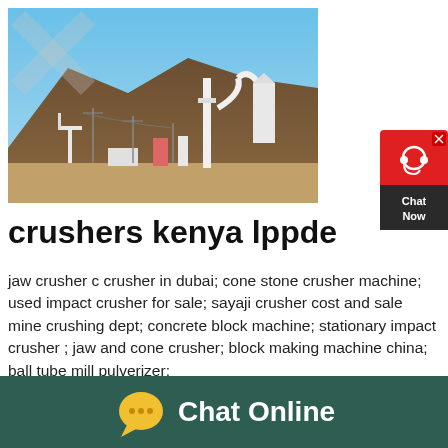[Figure (photo): Industrial mining/crushing plant with white machinery and equipment set against a brown mountainous backdrop under a blue sky]
[Figure (infographic): Red chat now widget button with headset icon in top right corner]
crushers kenya lppde
jaw crusher c crusher in dubai; cone stone crusher machine; used impact crusher for sale; sayaji crusher cost and sale mine crushing dept; concrete block machine; stationary impact crusher ; jaw and cone crusher; block making machine china; ball tube mill pulverizer;
[Figure (infographic): Dark teal footer bar with yellow speech bubble chat icon and 'Chat Online' text in white]